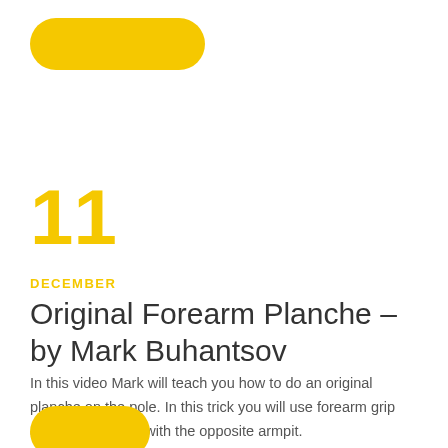[Figure (illustration): Yellow pill-shaped decorative shape at top left]
11
DECEMBER
Original Forearm Planche – by Mark Buhantsov
In this video Mark will teach you how to do an original planche on the pole. In this trick you will use forearm grip and hold the pole with the opposite armpit.
[Figure (illustration): Yellow pill-shaped decorative shape at bottom left]